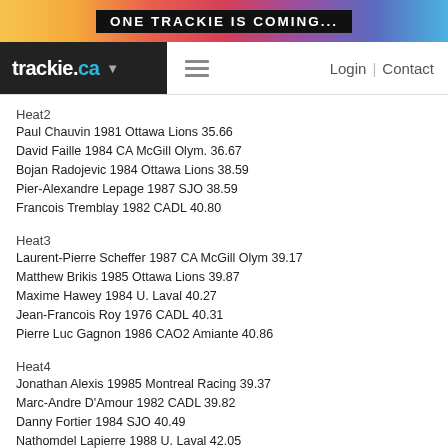ONE TRACKIE IS COMING...
trackie.ca  Login  Contact
Heat2
Paul Chauvin 1981 Ottawa Lions 35.66
David Faille 1984 CA McGill Olym. 36.67
Bojan Radojevic 1984 Ottawa Lions 38.59
Pier-Alexandre Lepage 1987 SJO 38.59
Francois Tremblay 1982 CADL 40.80
Heat3
Laurent-Pierre Scheffer 1987 CA McGill Olym 39.17
Matthew Brikis 1985 Ottawa Lions 39.87
Maxime Hawey 1984 U. Laval 40.27
Jean-Francois Roy 1976 CADL 40.31
Pierre Luc Gagnon 1986 CAO2 Amiante 40.86
Heat4
Jonathan Alexis 19985 Montreal Racing 39.37
Marc-Andre D'Amour 1982 CADL 39.82
Danny Fortier 1984 SJO 40.49
Nathomdel Lapierre 1988 U. Laval 42.05
Jeoniard Moliere 1984 Montreal Racing 43.70